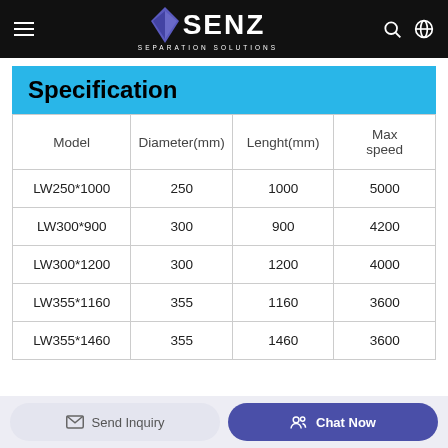SENZ SEPARATION SOLUTIONS
Specification
| Model | Diameter(mm) | Lenght(mm) | Max speed |
| --- | --- | --- | --- |
| LW250*1000 | 250 | 1000 | 5000 |
| LW300*900 | 300 | 900 | 4200 |
| LW300*1200 | 300 | 1200 | 4000 |
| LW355*1160 | 355 | 1160 | 3600 |
| LW355*1460 | 355 | 1460 | 3600 |
Send Inquiry  Chat Now